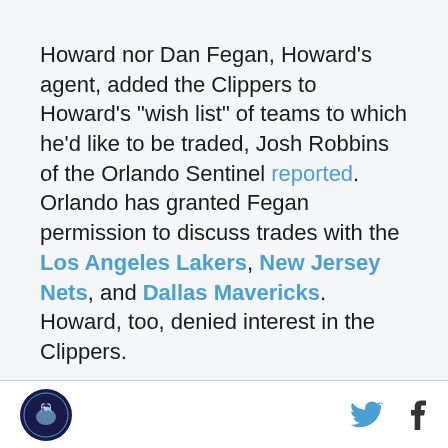Howard nor Dan Fegan, Howard's agent, added the Clippers to Howard's "wish list" of teams to which he'd like to be traded, Josh Robbins of the Orlando Sentinel reported. Orlando has granted Fegan permission to discuss trades with the Los Angeles Lakers, New Jersey Nets, and Dallas Mavericks. Howard, too, denied interest in the Clippers.
[Figure (logo): SB Nation logo - circular icon with a bird/griffin graphic]